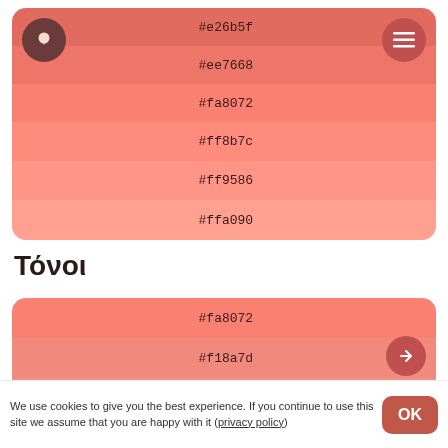[Figure (infographic): Color palette panel showing shades from dark salmon to light salmon: #e26b5f, #ee7668, #fa8072, #ff8b7c, #ff9586, #ffa090, with a lightbulb icon button top-left and hamburger menu button top-right]
Τόνοι
[Figure (infographic): Color palette panel showing tones of salmon getting lighter: #fa8072, #f18a7d, #e89488, #dd9d94, and a partially visible fifth color]
We use cookies to give you the best experience. If you continue to use this site we assume that you are happy with it (privacy policy)